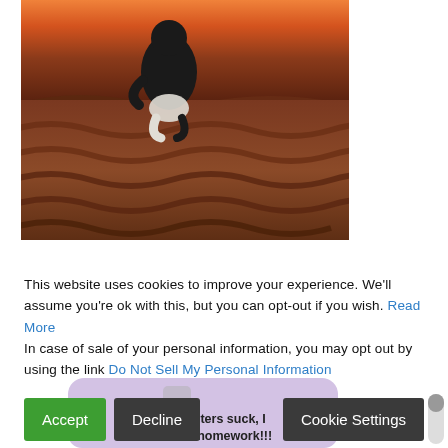[Figure (photo): A person crouching on terracotta roof tiles against a dramatic orange and red sunset sky, viewed from behind. The figure wears dark clothing.]
This website uses cookies to improve your experience. We'll assume you're ok with this, but you can opt-out if you wish. Read More In case of sale of your personal information, you may opt out by using the link Do Not Sell My Personal Information
[Figure (photo): Partially visible second image below the cookie banner showing a meme with text 'all-nighters suck, I hate homework!!!' overlaid on a purple-tinted background.]